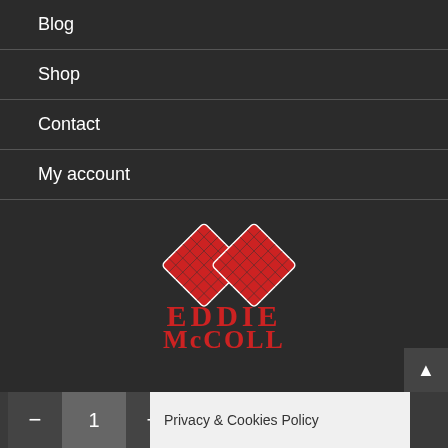Blog
Shop
Contact
My account
[Figure (logo): Eddie McColl logo with two overlapping red diamond/card suit shapes above the text EDDIE McCOLL in red serif font on dark background]
- 1 + Privacy & Cookies Policy